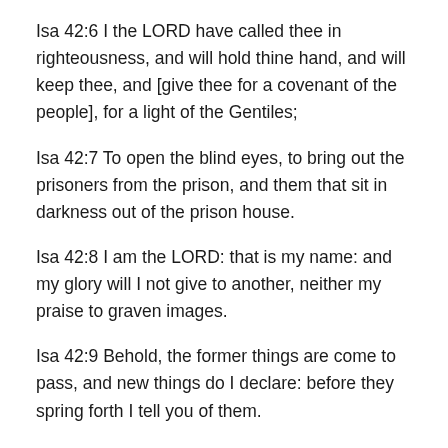Isa 42:6 I the LORD have called thee in righteousness, and will hold thine hand, and will keep thee, and [give thee for a covenant of the people], for a light of the Gentiles;
Isa 42:7 To open the blind eyes, to bring out the prisoners from the prison, and them that sit in darkness out of the prison house.
Isa 42:8 I am the LORD: that is my name: and my glory will I not give to another, neither my praise to graven images.
Isa 42:9 Behold, the former things are come to pass, and new things do I declare: before they spring forth I tell you of them.